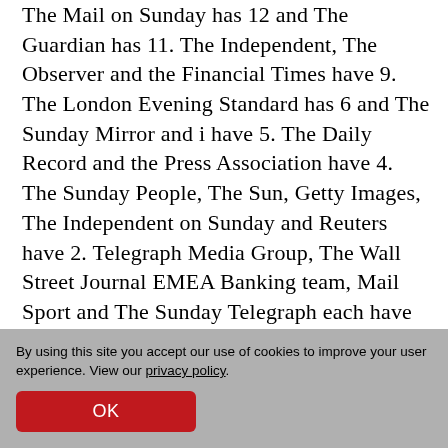The Mail on Sunday has 12 and The Guardian has 11. The Independent, The Observer and the Financial Times have 9. The London Evening Standard has 6 and The Sunday Mirror and i have 5. The Daily Record and the Press Association have 4. The Sunday People, The Sun, Getty Images, The Independent on Sunday and Reuters have 2. Telegraph Media Group, The Wall Street Journal EMEA Banking team, Mail Sport and The Sunday Telegraph each have one.
By using this site you accept our use of cookies to improve your user experience. View our privacy policy.